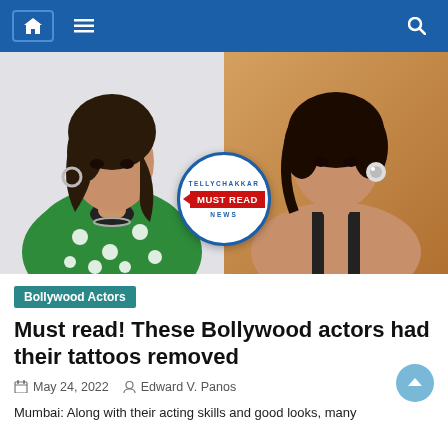Navigation bar with home, menu, and search icons
[Figure (photo): Split image showing two Bollywood actresses side by side. Left: woman in green polka dot top with hoop earrings against white background. Right: woman in black against warm tan/beige background. A 'MUST READ' stamp from Tellychakkar overlays the center bottom of the image.]
Bollywood Actors
Must read! These Bollywood actors had their tattoos removed
May 24, 2022   Edward V. Panos
Mumbai: Along with their acting skills and good looks, many